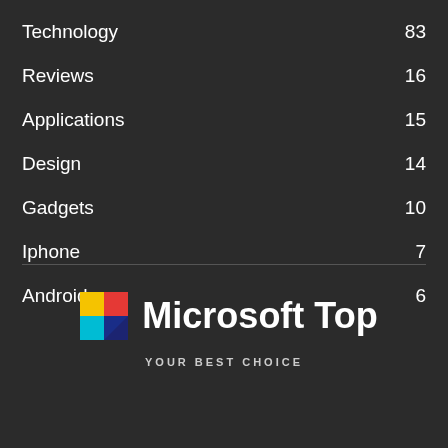Technology 83
Reviews 16
Applications 15
Design 14
Gadgets 10
Iphone 7
Android 6
[Figure (logo): Microsoft Top logo with colorful cube icon and tagline YOUR BEST CHOICE]